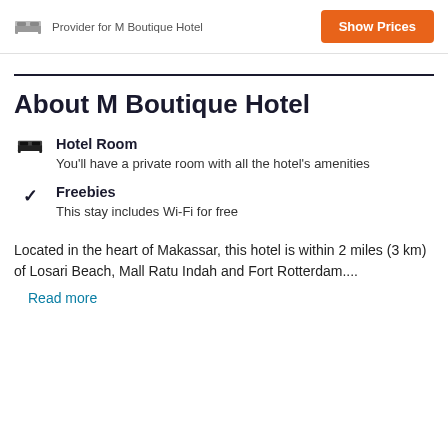Provider for M Boutique Hotel
About M Boutique Hotel
Hotel Room
You'll have a private room with all the hotel's amenities
Freebies
This stay includes Wi-Fi for free
Located in the heart of Makassar, this hotel is within 2 miles (3 km) of Losari Beach, Mall Ratu Indah and Fort Rotterdam....
Read more